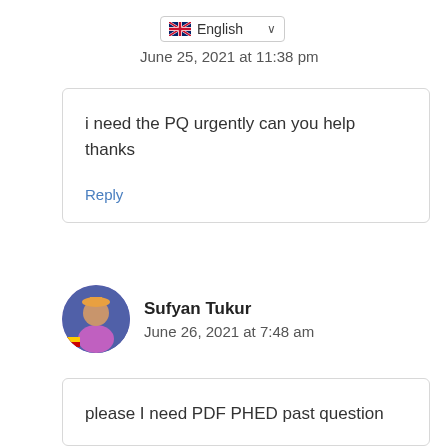[Figure (other): UK flag icon within a language selector dropdown showing 'English' with a chevron]
June 25, 2021 at 11:38 pm
i need the PQ urgently can you help thanks
Reply
Sufyan Tukur
June 26, 2021 at 7:48 am
please I need PDF PHED past question